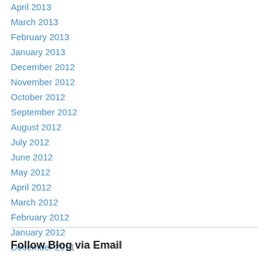April 2013
March 2013
February 2013
January 2013
December 2012
November 2012
October 2012
September 2012
August 2012
July 2012
June 2012
May 2012
April 2012
March 2012
February 2012
January 2012
December 2011
Follow Blog via Email